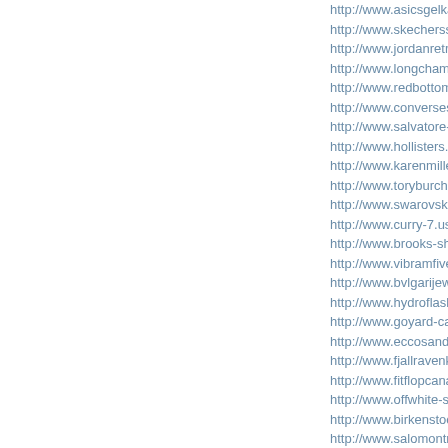http://www.asicsgelkayano.us/
http://www.skecherssandals.us/
http://www.jordanretro11.us.org/
http://www.longchampbags.us.
http://www.redbottomsshoes.u
http://www.converseslipon.us/
http://www.salvatore-ferragam
http://www.hollisters.us/ Hollis
http://www.karenmillensale.co
http://www.toryburchcanada.ca
http://www.swarovskis.us/ Swa
http://www.curry-7.us/ Under A
http://www.brooks-shoes.us.or
http://www.vibramfivefingers.c
http://www.bvlgarijewelrystore
http://www.hydroflask-canada.
http://www.goyard-canada.ca/
http://www.eccosandals.ca/ Ec
http://www.fjallravenkanken.u
http://www.fitflopcanada.ca/ F
http://www.offwhite-shoes.us.c
http://www.birkenstockclearan
http://www.salomontrainersuk